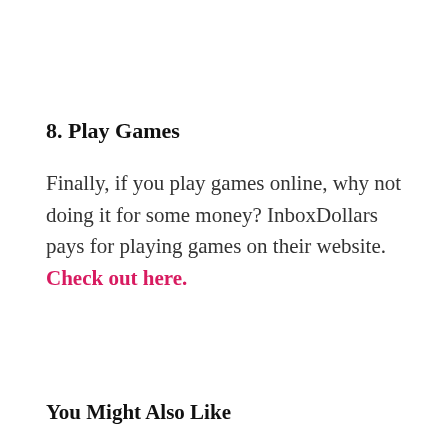8. Play Games
Finally, if you play games online, why not doing it for some money? InboxDollars pays for playing games on their website. Check out here.
You Might Also Like